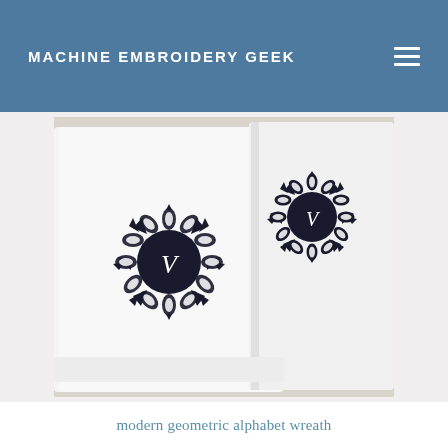MACHINE EMBROIDERY GEEK
[Figure (photo): Two white terry cloth towels with dark navy blue geometric circular wreath monogram embroidery designs featuring the letter V in the center, displayed folded on a light surface.]
modern geometric alphabet wreath